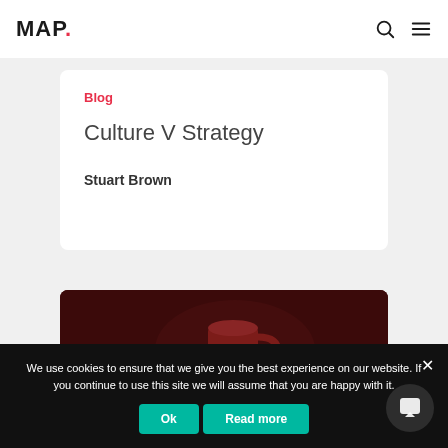MAP.
Blog
Culture V Strategy
Stuart Brown
[Figure (photo): Dark reddish-brown background with a red coffee mug visible in the center, dimly lit atmospheric photo]
We use cookies to ensure that we give you the best experience on our website. If you continue to use this site we will assume that you are happy with it.
Ok  Read more